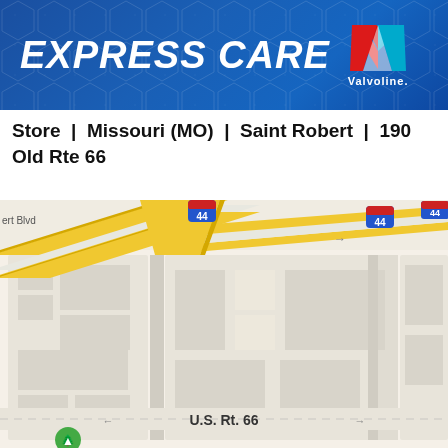[Figure (logo): Express Care Valvoline logo on blue hexagon-patterned banner background]
Store | Missouri (MO) | Saint Robert | 190 Old Rte 66
[Figure (map): Street map showing Interstate 44 at Saint Robert, Missouri near 190 Old Route 66. Shows I-44 highway running diagonally, with U.S. Rt. 66 below, street grid, and building footprints.]